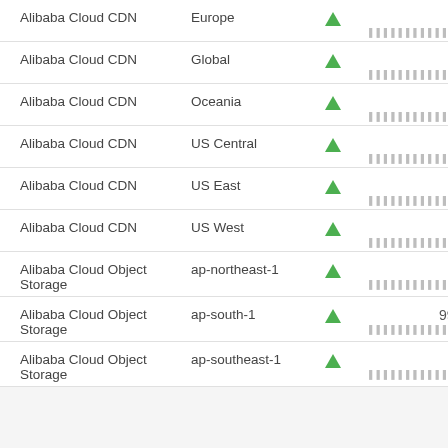| Service | Region | Status | Uptime |
| --- | --- | --- | --- |
| Alibaba Cloud CDN | Europe | ↑ | 100% |
| Alibaba Cloud CDN | Global | ↑ | 100% |
| Alibaba Cloud CDN | Oceania | ↑ | 100% |
| Alibaba Cloud CDN | US Central | ↑ | 100% |
| Alibaba Cloud CDN | US East | ↑ | 100% |
| Alibaba Cloud CDN | US West | ↑ | 100% |
| Alibaba Cloud Object Storage | ap-northeast-1 | ↑ | 100% |
| Alibaba Cloud Object Storage | ap-south-1 | ↑ | 99.9944% |
| Alibaba Cloud Object Storage | ap-southeast-1 | ↑ | 100% |